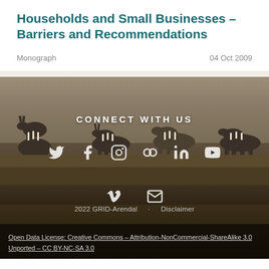Households and Small Businesses – Barriers and Recommendations
Monograph    04 Oct 2009
[Figure (photo): Background photo of zebras in a savanna grassland with brown grass, overlaid with social media icons and footer text.]
CONNECT WITH US
2022 GRID-Arendal   Disclaimer
Open Data License: Creative Commons – Attribution-NonCommercial-ShareAlike 3.0 Unported – CC BY-NC-SA 3.0